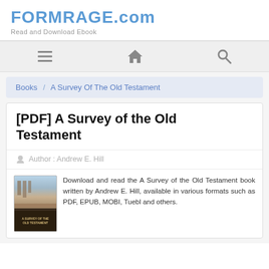FORMRAGE.com
Read and Download Ebook
[Figure (other): Navigation bar with hamburger menu icon, home icon, and search icon]
Books / A Survey Of The Old Testament
[PDF] A Survey of the Old Testament
Author : Andrew E. Hill
[Figure (illustration): Book cover of A Survey of the Old Testament]
Download and read the A Survey of the Old Testament book written by Andrew E. Hill, available in various formats such as PDF, EPUB, MOBI, Tuebl and others.